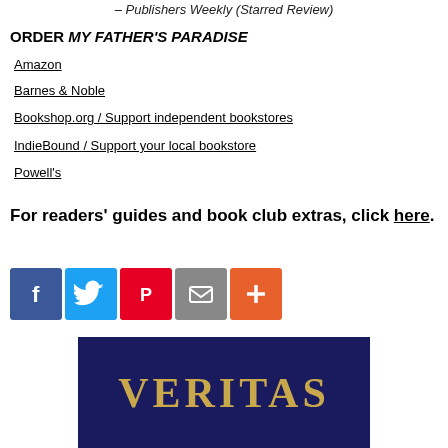– Publishers Weekly (Starred Review)
ORDER MY FATHER'S PARADISE
Amazon
Barnes & Noble
Bookshop.org / Support independent bookstores
IndieBound / Support your local bookstore
Powell's
For readers' guides and book club extras, click here.
[Figure (infographic): Social media sharing icons: Facebook (blue), Twitter (light blue), Pinterest (red), Email (gray), More/Plus (orange)]
[Figure (photo): Book cover image showing 'VERITAS' in gold serif letters on a dark navy blue background]